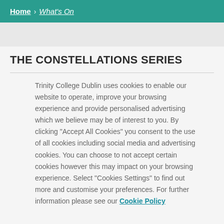Home > What's On
THE CONSTELLATIONS SERIES
Trinity College Dublin uses cookies to enable our website to operate, improve your browsing experience and provide personalised advertising which we believe may be of interest to you. By clicking "Accept All Cookies" you consent to the use of all cookies including social media and advertising cookies. You can choose to not accept certain cookies however this may impact on your browsing experience. Select "Cookies Settings" to find out more and customise your preferences. For further information please see our Cookie Policy